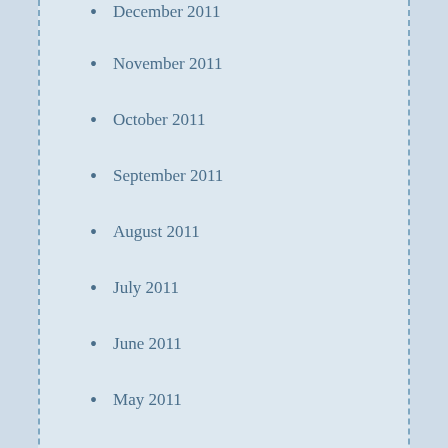December 2011
November 2011
October 2011
September 2011
August 2011
July 2011
June 2011
May 2011
April 2011
Meta
Log in
Entries feed
Comments feed
WordPress.org